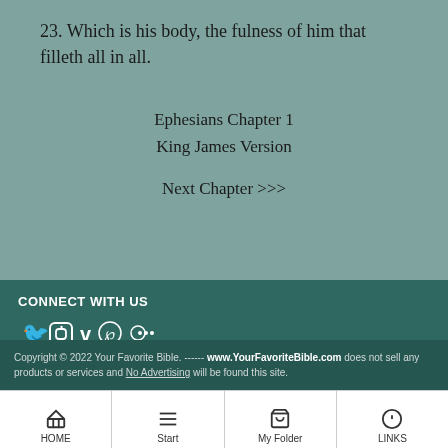23. Which is his body, the fulness of him that filleth all in all.
Ephesians Chapter 1
King James Version
Next Chapter >>>
CONNECT WITH US
[Figure (other): Social media icons: Twitter, Instagram, Vine, Pinterest, Flickr]
Copyright © 2022 Your Favorite Bible. ------ www.YourFavoriteBible.com does not sell any products or services and No Advertising will be found this site.
HOME | Start | My Folder | LINKS